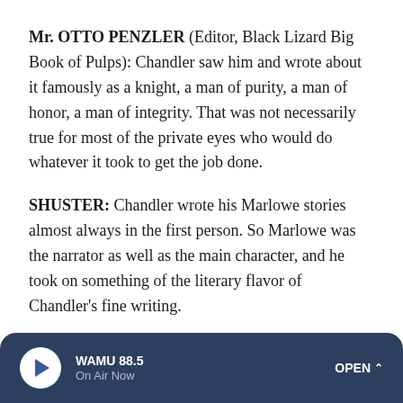Mr. OTTO PENZLER (Editor, Black Lizard Big Book of Pulps): Chandler saw him and wrote about it famously as a knight, a man of purity, a man of honor, a man of integrity. That was not necessarily true for most of the private eyes who would do whatever it took to get the job done.
SHUSTER: Chandler wrote his Marlowe stories almost always in the first person. So Marlowe was the narrator as well as the main character, and he took on something of the literary flavor of Chandler's fine writing.
Van Heflin played him in this 1947 radio version of the novella, "Red Wind."
WAMU 88.5 On Air Now OPEN